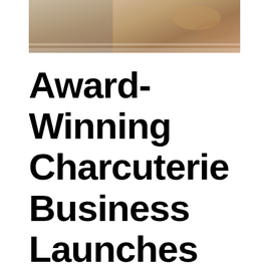[Figure (photo): Partial photo of a charcuterie board or food item, cropped at top of page showing warm brown tones]
Award-Winning Charcuterie Business Launches Gift Card Giveback Program